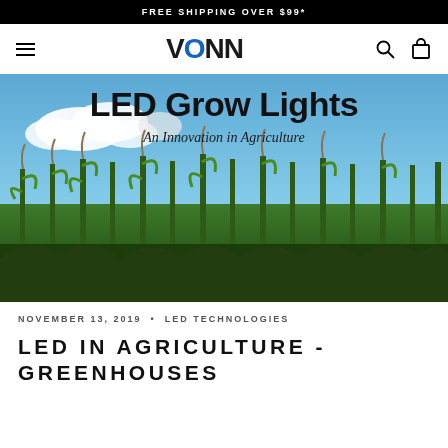FREE SHIPPING OVER $99*
[Figure (logo): VONN brand logo in bold black text with stylized N characters]
[Figure (photo): LED Grow Lights - An Innovation in Agriculture. Photo of corn field with blue sky and clouds, overlaid with text 'LED Grow Lights' and subtitle 'An Innovation in Agriculture']
NOVEMBER 13, 2019  •  LED TECHNOLOGIES
LED IN AGRICULTURE - GREENHOUSES